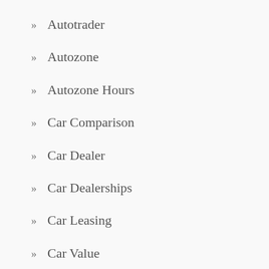Autotrader
Autozone
Autozone Hours
Car Comparison
Car Dealer
Car Dealerships
Car Leasing
Car Value
Cars For Sale